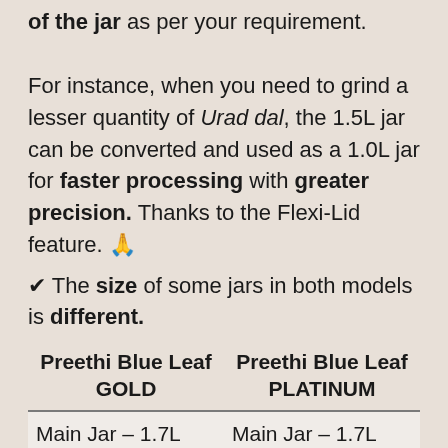of the jar as per your requirement. For instance, when you need to grind a lesser quantity of Urad dal, the 1.5L jar can be converted and used as a 1.0L jar for faster processing with greater precision. Thanks to the Flexi-Lid feature. 🙏
✔ The size of some jars in both models is different.
| Preethi Blue Leaf GOLD | Preethi Blue Leaf PLATINUM |
| --- | --- |
| Main Jar – 1.7L | Main Jar – 1.7L |